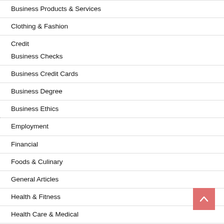Business Products & Services
Clothing & Fashion
Credit
Business Checks
Business Credit Cards
Business Degree
Business Ethics
Employment
Financial
Foods & Culinary
General Articles
Health & Fitness
Health Care & Medical
Home Products & Services